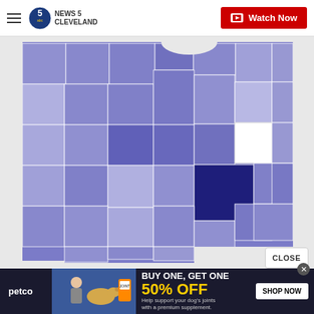News 5 Cleveland — Watch Now
[Figure (map): Choropleth map of Ohio counties shaded in varying intensities of blue/purple, indicating data values by county. One county in central-east Ohio is white (no data). One large county in the southeast is dark navy blue (highest value). The northern Lake Erie shoreline counties are medium-dark blue. Most other counties are medium purple-blue. The map is displayed on a white background.]
CLOSE
[Figure (infographic): Petco advertisement: BUY ONE, GET ONE 50% OFF — Help support your dog's joints with a premium supplement. SHOP NOW button. Features image of woman with a golden retriever and a supplement product.]